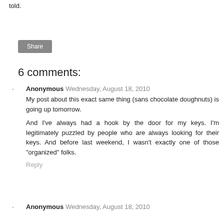told.
Share
6 comments:
Anonymous Wednesday, August 18, 2010
My post about this exact same thing (sans chocolate doughnuts) is going up tomorrow.

And I've always had a hook by the door for my keys. I'm legitimately puzzled by people who are always looking for their keys. And before last weekend, I wasn't exactly one of those "organized" folks.
Reply
Anonymous Wednesday, August 18, 2010